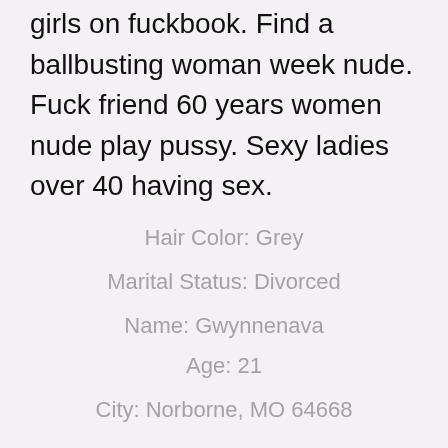girls on fuckbook. Find a ballbusting woman week nude. Fuck friend 60 years women nude play pussy. Sexy ladies over 40 having sex.
Hair Color: Grey
Marital Status: Divorced
Name: Gwynnenava
Age: 21
City: Norborne, MO 64668